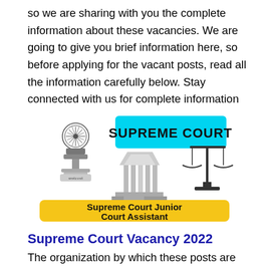so we are sharing with you the complete information about these vacancies. We are going to give you brief information here, so before applying for the vacant posts, read all the information carefully below. Stay connected with us for complete information regarding this post.
[Figure (illustration): Supreme Court Junior Court Assistant banner with Ashoka Pillar emblem, court building, scales of justice, cyan 'SUPREME COURT' header and yellow banner with text 'Supreme Court Junior Court Assistant']
Supreme Court Vacancy 2022
The organization by which these posts are being released is the Supreme Court. Candidates who want to apply and are able to complete all the eligibility criteria then Read all eligibility